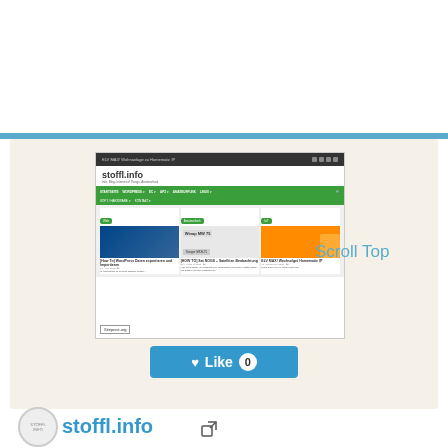[Figure (screenshot): Screenshot of stoffl.info website showing blog posts about WordPress, Amateurfunk, and IoT with green navigation bar]
Scroll Top
[Figure (other): Like button with heart icon showing count 0]
[Figure (logo): stoffl.info circular logo badge]
stoffl.info
[Figure (other): External link icon]